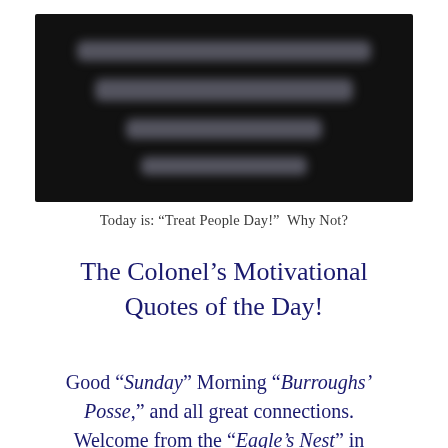[Figure (photo): Dark black rectangular image with blurred/redacted text lines visible against the black background, appearing as a blurred screenshot or redacted document]
Today is: “Treat People Day!”  Why Not?
The Colonel’s Motivational Quotes of the Day!
Good “Sunday” Morning “Burroughs’ Posse,” and all great connections. Welcome from the “Eagle’s Nest” in